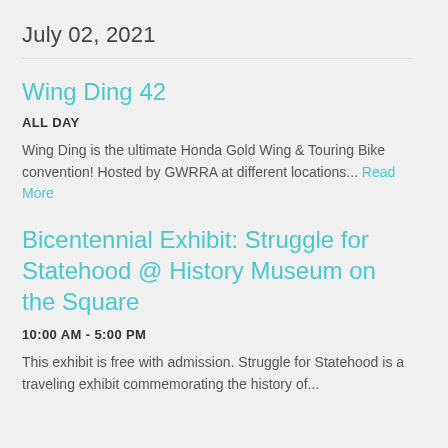July 02, 2021
Wing Ding 42
ALL DAY
Wing Ding is the ultimate Honda Gold Wing & Touring Bike convention! Hosted by GWRRA at different locations... Read More
Bicentennial Exhibit: Struggle for Statehood @ History Museum on the Square
10:00 AM - 5:00 PM
This exhibit is free with admission. Struggle for Statehood is a traveling exhibit commemorating the history of...